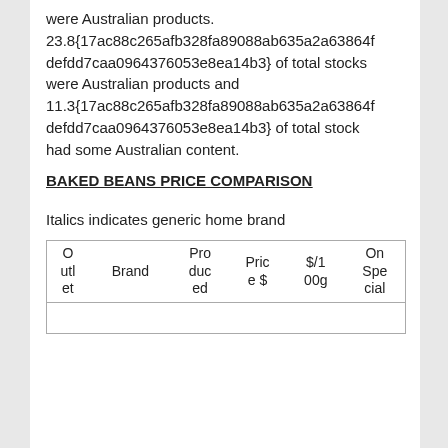were Australian products. 23.8{17ac88c265afb328fa89088ab635a2a63864fdefdd7caa0964376053e8ea14b3} of total stocks were Australian products and 11.3{17ac88c265afb328fa89088ab635a2a63864fdefdd7caa0964376053e8ea14b3} of total stock had some Australian content.
BAKED BEANS PRICE COMPARISON
Italics indicates generic home brand
| Outlet | Brand | Produced | Price $ | $/100g | On Special |
| --- | --- | --- | --- | --- | --- |